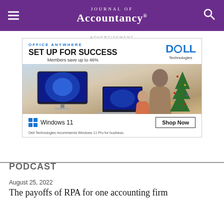Journal of Accountancy
ADVERTISEMENT
[Figure (other): Dell Technologies advertisement: Office Anywhere - Set Up For Success. Members save up to 46%. Shows a woman and child working on Dell computers with a Christmas tree in the background. Windows 11 logo with Shop Now button. Dell Technologies recommends Windows 11 Pro for business.]
PODCAST
August 25, 2022
The payoffs of RPA for one accounting firm